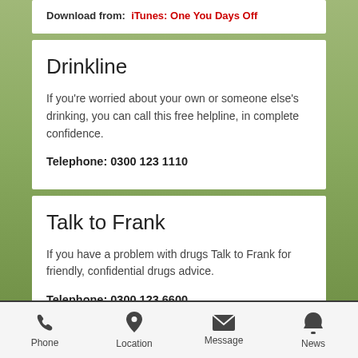Download from:  iTunes: One You Days Off
Drinkline
If you're worried about your own or someone else's drinking, you can call this free helpline, in complete confidence.
Telephone: 0300 123 1110
Talk to Frank
If you have a problem with drugs Talk to Frank for friendly, confidential drugs advice.
Telephone: 0300 123 6600
Text: 82111
Phone  Location  Message  News